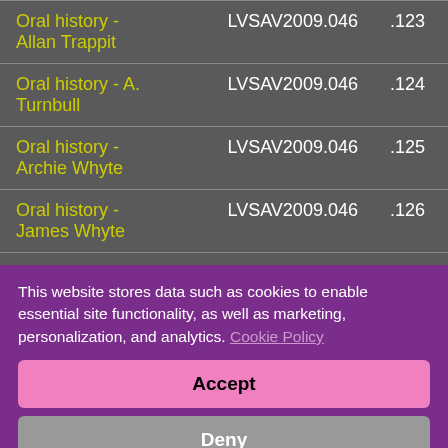| Title | ID | Number |
| --- | --- | --- |
| Oral history - Allan Trappit | LVSAV2009.046 | .123 |
| Oral history - A. Turnbull | LVSAV2009.046 | .124 |
| Oral history - Archie Whyte | LVSAV2009.046 | .125 |
| Oral history - James Whyte | LVSAV2009.046 | .126 |
| Oral history - | LVSAV2009.046 | .127 |
This website stores data such as cookies to enable essential site functionality, as well as marketing, personalization, and analytics. Cookie Policy
Accept
Deny